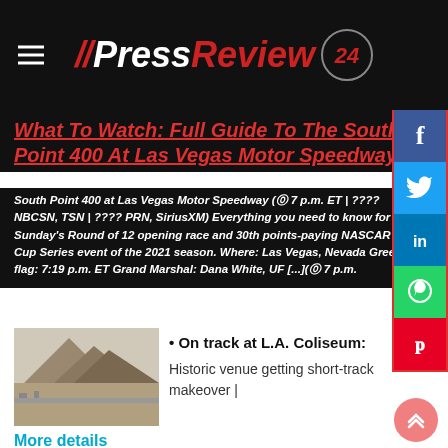//PressReview 24
What To Watch: Full Guide To The South Point 400 At Las Vegas Motor Speedway
South Point 400 at Las Vegas Motor Speedway (⓪ 7 p.m. ET | ???? NBCSN, TSN | ???? PRN, SiriusXM) Everything you need to know for Sunday's Round of 12 opening race and 30th points-paying NASCAR Cup Series event of the 2021 season. Where: Las Vegas, Nevada Green flag: 7:19 p.m. ET Grand Marshal: Dana White, UF [...](⓪ 7 p.m.
[Figure (photo): Desert mountain landscape with racing track in the foreground]
On track at L.A. Coliseum:
Historic venue getting short-track makeover |
More details
Coliseum demo:
A look at the iRacing demo of the L.A. Coliseum, home of the 2022 Clash...